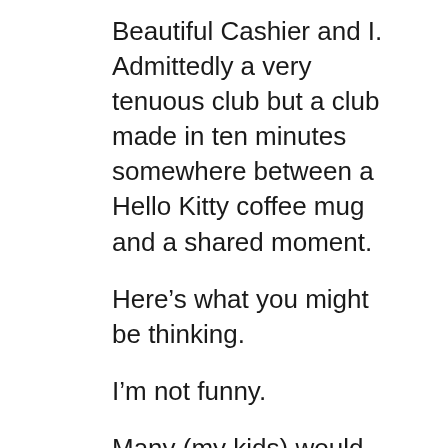Beautiful Cashier and I. Admittedly a very tenuous club but a club made in ten minutes somewhere between a Hello Kitty coffee mug and a shared moment.
Here’s what you might be thinking.
I’m not funny.
Many (my kids) would argue neither am I. Here’s another way to do it.
Me: You have beautiful skin. What do you use to keep it so pretty?
Small appropriate acknowledgment